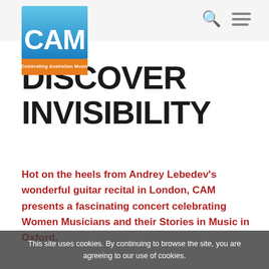[Figure (logo): CAM - Celebrating Australian Music logo. Blue gradient square background with white bold 'CAM' text and orange banner at bottom with 'Celebrating Australian Music' text.]
DISCOVER INVISIBILITY
Hot on the heels from Andrey Lebedev's wonderful guitar recital in London, CAM presents a fascinating concert celebrating Women Musicians and their Stories in Music in Oxford.
This site uses cookies. By continuing to browse the site, you are agreeing to our use of cookies.